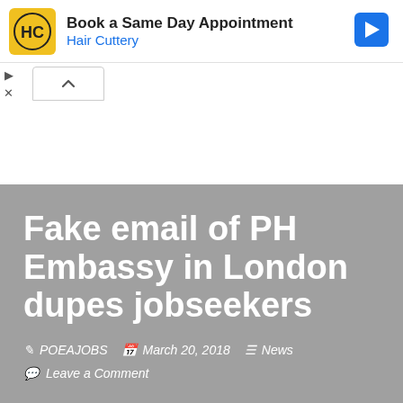[Figure (screenshot): Hair Cuttery advertisement banner with logo, 'Book a Same Day Appointment' text, blue navigation arrow icon, and collapse/close controls]
Fake email of PH Embassy in London dupes jobseekers
✏ POEAJOBS  🗓 March 20, 2018  ☰ News
💬 Leave a Comment